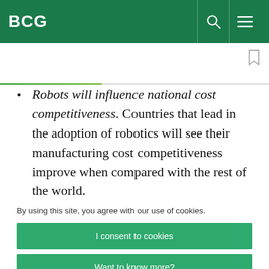BCG
Robots will influence national cost competitiveness. Countries that lead in the adoption of robotics will see their manufacturing cost competitiveness improve when compared with the rest of the world.
By using this site, you agree with our use of cookies.
I consent to cookies
Want to know more?
Read our Cookie Policy